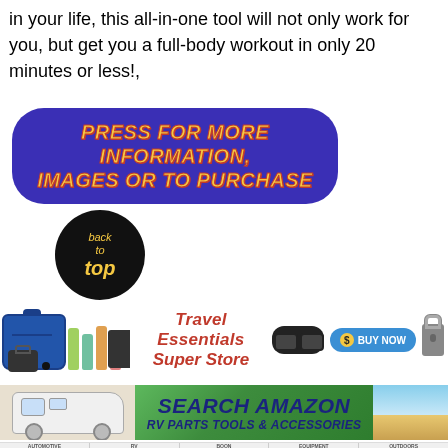in your life, this all-in-one tool will not only work for you, but get you a full-body workout in only 20 minutes or less!,
[Figure (infographic): Purple rounded rectangle button with bold italic yellow/red text reading 'PRESS FOR MORE INFORMATION, IMAGES OR TO PURCHASE']
[Figure (infographic): Black circular badge with yellow italic text reading 'back to top']
[Figure (infographic): Travel Essentials Super Store banner with luggage icons, colored bottles, tablet, goggles, lock, blue Buy Now button, and bold red italic text 'Travel Essentials Super Store']
[Figure (infographic): Amazon banner with RV image on left, green center with 'SEARCH AMAZON RV PARTS TOOLS & ACCESSORIES' in blue bold italic text, desert scene on right]
AUTOMOTIVE   RV   BOON   EQUIPMENT   OUTDOORS